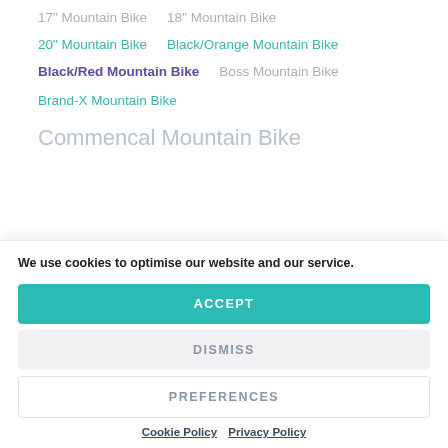17" Mountain Bike   18" Mountain Bike
20" Mountain Bike   Black/Orange Mountain Bike
Black/Red Mountain Bike   Boss Mountain Bike
Brand-X Mountain Bike
Commencal Mountain Bike
We use cookies to optimise our website and our service.
ACCEPT
DISMISS
PREFERENCES
Cookie Policy   Privacy Policy